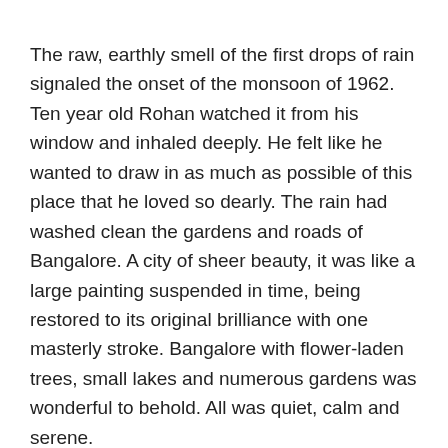The raw, earthly smell of the first drops of rain signaled the onset of the monsoon of 1962. Ten year old Rohan watched it from his window and inhaled deeply. He felt like he wanted to draw in as much as possible of this place that he loved so dearly. The rain had washed clean the gardens and roads of Bangalore. A city of sheer beauty, it was like a large painting suspended in time, being restored to its original brilliance with one masterly stroke. Bangalore with flower-laden trees, small lakes and numerous gardens was wonderful to behold. All was quiet, calm and serene.
But even his love for Bangalore could not match his